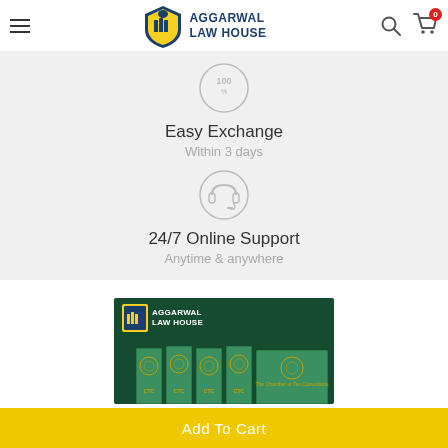Aggarwal Law House — navigation header
[Figure (illustration): 100% badge icon inside a circle, grey outline]
Easy Exchange
Within 3 days
[Figure (illustration): Headphone/headset icon inside a circle, grey outline]
24/7 Online Support
Anytime & anywhere
[Figure (illustration): Aggarwal Law House banner image showing green law books with CTC label and gold emblem]
Add To Cart